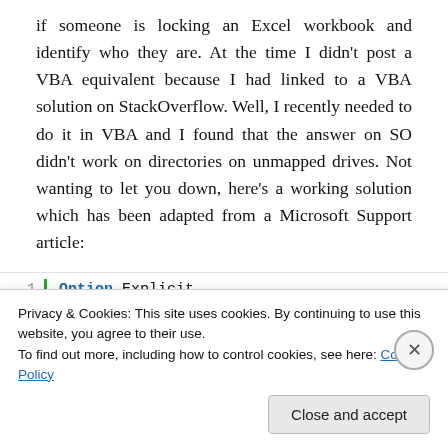if someone is locking an Excel workbook and identify who they are. At the time I didn't post a VBA equivalent because I had linked to a VBA solution on StackOverflow. Well, I recently needed to do it in VBA and I found that the answer on SO didn't work on directories on unmapped drives. Not wanting to let you down, here's a working solution which has been adapted from a Microsoft Support article:
[Figure (screenshot): Code editor showing VBA code: line 1: Option Explicit, line 2: (blank), line 3: 'adapted from https://support.micros, line 4: 'requires a reference to Microsoft C (partially obscured by cookie banner)]
Privacy & Cookies: This site uses cookies. By continuing to use this website, you agree to their use.
To find out more, including how to control cookies, see here: Cookie Policy